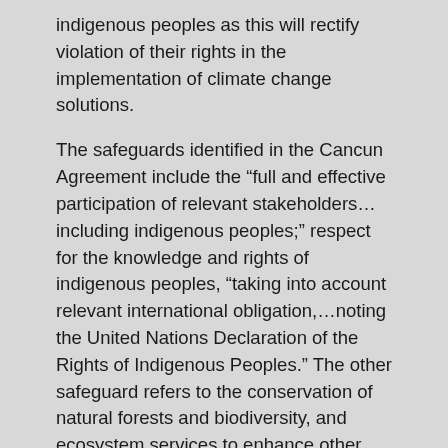indigenous peoples as this will rectify violation of their rights in the implementation of climate change solutions.
The safeguards identified in the Cancun Agreement include the “full and effective participation of relevant stakeholders… including indigenous peoples;” respect for the knowledge and rights of indigenous peoples, “taking into account relevant international obligation,…noting the United Nations Declaration of the Rights of Indigenous Peoples.” The other safeguard refers to the conservation of natural forests and biodiversity, and ecosystem services to enhance other social and environmental benefits.